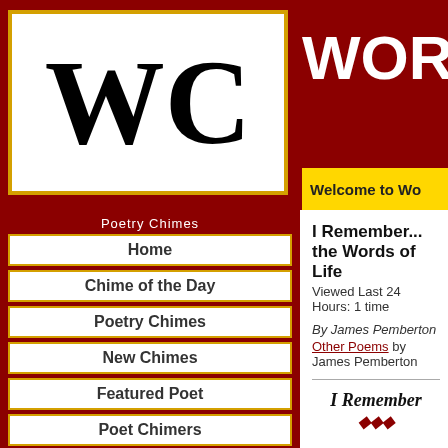WORDCH
[Figure (logo): WC logo in black serif font on white background with gold border]
Welcome to Wo
Poetry Chimes
Home
Chime of the Day
Poetry Chimes
New Chimes
Featured Poet
Poet Chimers
Child Chimes
Blog
Chime Links
I Remember... the Words of Life
Viewed Last 24 Hours: 1 time
By James Pemberton
Other Poems by James Pemberton
I Remember ◆◆◆
I remember reading the
The words of life. ◆ I wante
I remember keeping the
Every day ◆I woul
I remember wanting to